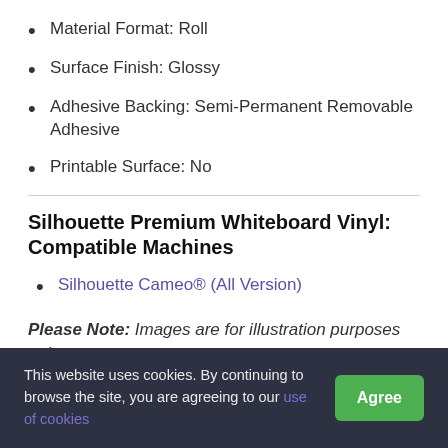Material Format: Roll
Surface Finish: Glossy
Adhesive Backing: Semi-Permanent Removable Adhesive
Printable Surface: No
Silhouette Premium Whiteboard Vinyl: Compatible Machines
Silhouette Cameo® (All Version)
Please Note: Images are for illustration purposes only.
This website uses cookies. By continuing to browse the site, you are agreeing to our use of cookies